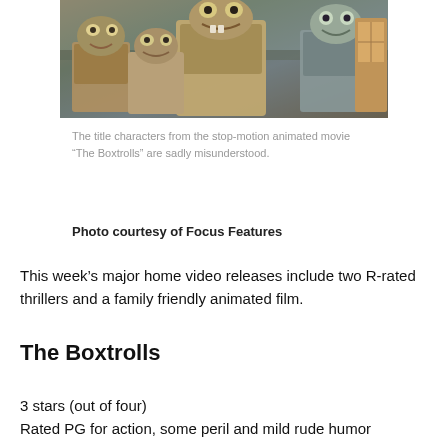[Figure (photo): Stop-motion animated characters from The Boxtrolls — troll creatures wearing cardboard boxes, grouped together in a scene from the film.]
The title characters from the stop-motion animated movie “The Boxtrolls” are sadly misunderstood.
Photo courtesy of Focus Features
This week’s major home video releases include two R-rated thrillers and a family friendly animated film.
The Boxtrolls
3 stars (out of four)
Rated PG for action, some peril and mild rude humor